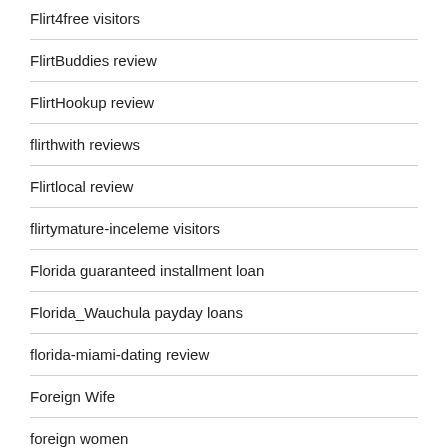Flirt4free visitors
FlirtBuddies review
FlirtHookup review
flirthwith reviews
Flirtlocal review
flirtymature-inceleme visitors
Florida guaranteed installment loan
Florida_Wauchula payday loans
florida-miami-dating review
Foreign Wife
foreign women